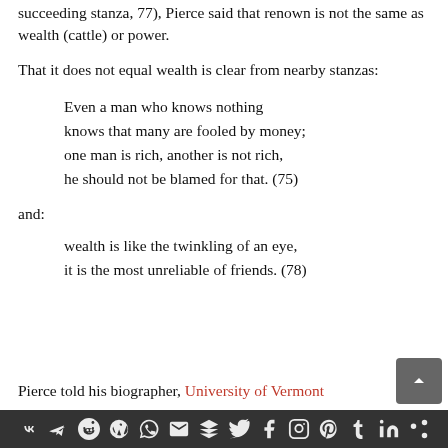succeeding stanza, 77), Pierce said that renown is not the same as wealth (cattle) or power.
That it does not equal wealth is clear from nearby stanzas:
Even a man who knows nothing
knows that many are fooled by money;
one man is rich, another is not rich,
he should not be blamed for that. (75)
and:
wealth is like the twinkling of an eye,
it is the most unreliable of friends. (78)
Pierce told his biographer, University of Vermont
[social media share icons]